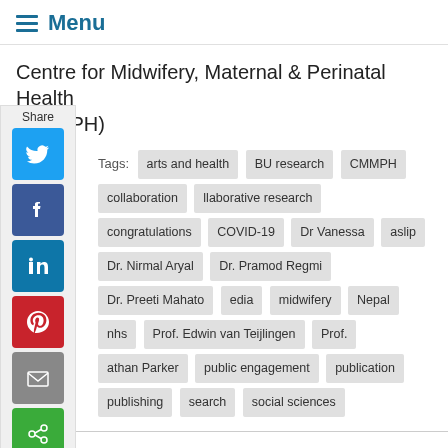≡ Menu
Centre for Midwifery, Maternal & Perinatal Health (CMMPH)
[Figure (infographic): Social share sidebar with buttons for Twitter, Facebook, LinkedIn, Pinterest, Email, and a green share button. Labeled 'Share' at top.]
Tags: arts and health  BU research  CMMPH  collaboration  collaborative research  congratulations  COVID-19  Dr Vanessa  aslip  Dr. Nirmal Aryal  Dr. Pramod Regmi  Dr. Preeti Mahato  edia  midwifery  Nepal  nhs  Prof. Edwin van Teijlingen  Prof.  athan Parker  public engagement  publication  publishing  search  social sciences